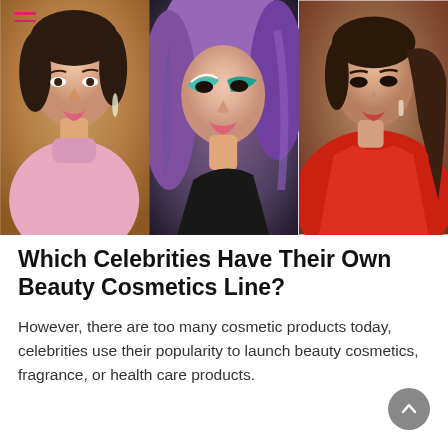[Figure (photo): Three celebrity photos side by side: first woman in pink turtleneck with dangly earrings, second woman with purple hair and dramatic teal eye makeup, third woman in red outfit with long ponytail]
Which Celebrities Have Their Own Beauty Cosmetics Line?
However, there are too many cosmetic products today, celebrities use their popularity to launch beauty cosmetics, fragrance, or health care products.